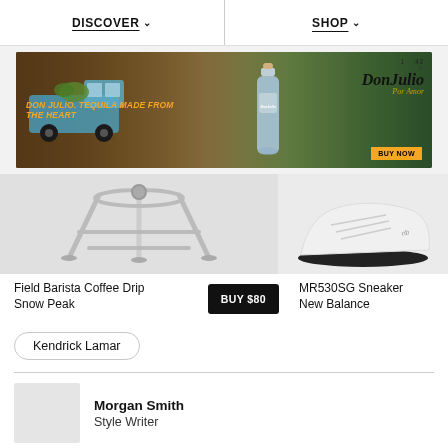DISCOVER  SHOP
[Figure (photo): Don Julio tequila advertisement banner with a blue vintage truck, agave plants, bottle of Don Julio Blanco, and the text 'DON JULIO. TEQUILA MADE FROM THE HEART' with a BUY NOW button]
[Figure (photo): Field Barista Coffee Drip stand by Snow Peak - metallic chrome wire coffee dripper stand on gray background]
[Figure (photo): MR530SG Sneaker by New Balance - partial view of white/gray sneaker on white background]
Field Barista Coffee Drip
Snow Peak
BUY $80
MR530SG Sneaker
New Balance
Kendrick Lamar
Morgan Smith
Style Writer